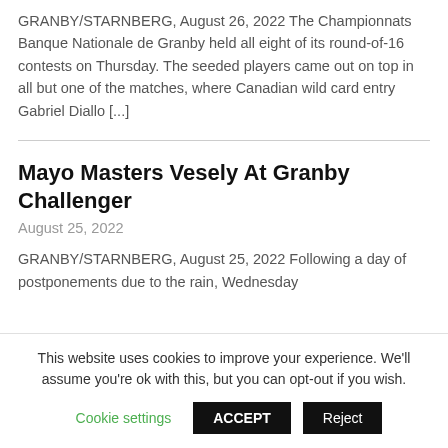GRANBY/STARNBERG, August 26, 2022 The Championnats Banque Nationale de Granby held all eight of its round-of-16 contests on Thursday. The seeded players came out on top in all but one of the matches, where Canadian wild card entry Gabriel Diallo [...]
Mayo Masters Vesely At Granby Challenger
August 25, 2022
GRANBY/STARNBERG, August 25, 2022 Following a day of postponements due to the rain, Wednesday
This website uses cookies to improve your experience. We'll assume you're ok with this, but you can opt-out if you wish.